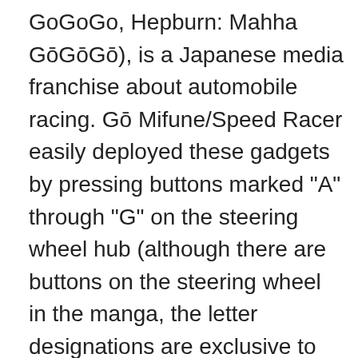GoGoGo, Hepburn: Mahha GōGōGō), is a Japanese media franchise about automobile racing. Gō Mifune/Speed Racer easily deployed these gadgets by pressing buttons marked "A" through "G" on the steering wheel hub (although there are buttons on the steering wheel in the manga, the letter designations are exclusive to the anime and the 2008 live action film). NASA's Galaxy Evolution Explorer discovered the long trail of material behind Mira during its survey of … Look at the complete list of languages: Available language pairs. The manga has a dramatically different ending than the anime. When Speed recalls his knowledge of French history, a rendition of Jacques-Louis David's painting of Napoleon Crossing the Alps, which depicts Napoleon riding Marengo, is drawn in the episode. Translation for: 'shooting star' in English->Latin dictionary. Some of the words may be incorrectly